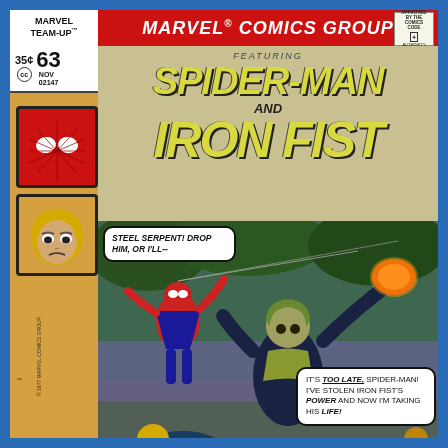[Figure (illustration): Marvel Team-Up #63 comic book cover featuring Spider-Man and Iron Fist. Top red banner reads MARVEL COMICS GROUP. Left sidebar shows Marvel Team-Up logo, price 35 cents, issue 63, November, code 02147, Spider-Man and Iron Fist character head portraits. Main title area shows SPIDER-MAN AND IRON FIST in large yellow italic lettering. Action scene shows Spider-Man swinging with web, villain Steel Serpent in center with glowing fist, Iron Fist defeated. Speech bubbles: 'STEEL SERPENT! DROP HIM, OR I'LL--' and 'IT'S TOO LATE, SPIDER-MAN! I'VE STOLEN IRON FIST'S POWER AND NOW I'M TAKING HIS LIFE!']